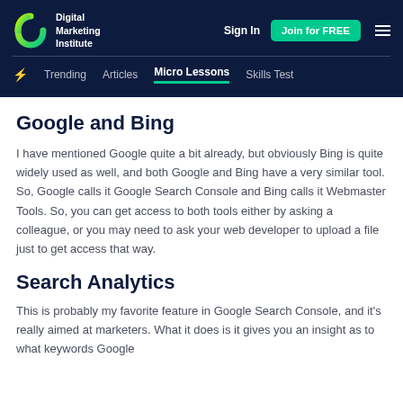Digital Marketing Institute | Sign In | Join for FREE | Trending | Articles | Micro Lessons | Skills Test
Google and Bing
I have mentioned Google quite a bit already, but obviously Bing is quite widely used as well, and both Google and Bing have a very similar tool. So, Google calls it Google Search Console and Bing calls it Webmaster Tools. So, you can get access to both tools either by asking a colleague, or you may need to ask your web developer to upload a file just to get access that way.
Search Analytics
This is probably my favorite feature in Google Search Console, and it's really aimed at marketers. What it does is it gives you an insight as to what keywords Google